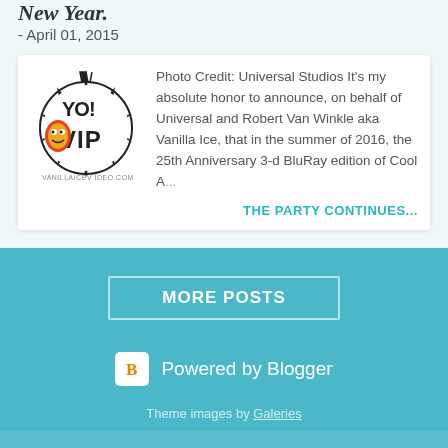New Year.
- April 01, 2015
[Figure (logo): YO! VIP logo with cartoon face and starburst design]
Photo Credit: Universal Studios It's my absolute honor to announce, on behalf of Universal and Robert Van Winkle aka Vanilla Ice, that in the summer of 2016, the 25th Anniversary 3-d BluRay edition of Cool A...
THE PARTY CONTINUES...
MORE POSTS
Powered by Blogger
Theme images by Galeries